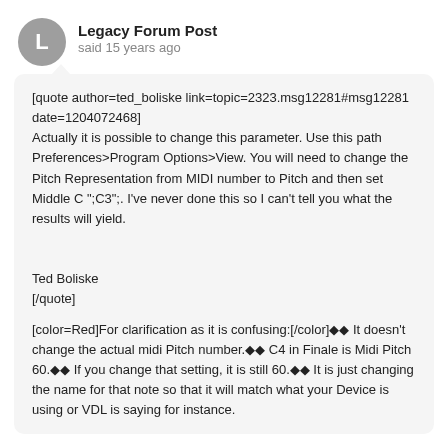Legacy Forum Post
said 15 years ago
[quote author=ted_boliske link=topic=2323.msg12281#msg12281 date=1204072468]
Actually it is possible to change this parameter. Use this path Preferences>Program Options>View. You will need to change the Pitch Representation from MIDI number to Pitch and then set Middle C ";C3";. I've never done this so I can't tell you what the results will yield.


Ted Boliske
[/quote]

[color=Red]For clarification as it is confusing:[/color]◆◆ It doesn't change the actual midi Pitch number.◆◆ C4 in Finale is Midi Pitch 60.◆◆ If you change that setting, it is still 60.◆◆ It is just changing the name for that note so that it will match what your Device is using or VDL is saying for instance.